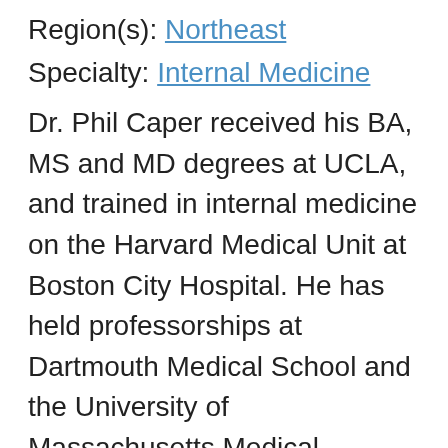Region(s): Northeast
Specialty: Internal Medicine
Dr. Phil Caper received his BA, MS and MD degrees at UCLA, and trained in internal medicine on the Harvard Medical Unit at Boston City Hospital. He has held professorships at Dartmouth Medical School and the University of Massachusetts Medical School, where he was also Vice-Chancellor for Health Affairs, chief of the medical staff, and hospital director. He has been an adjunct lecturer on health policy and management at the Harvard School of Public Health, a